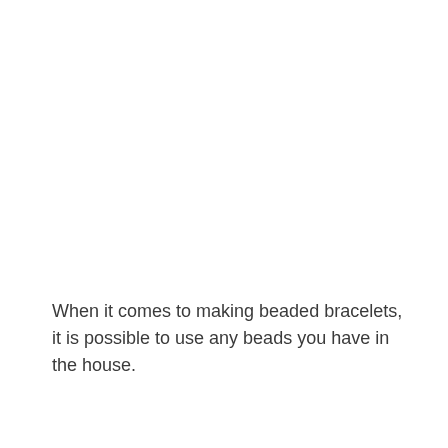When it comes to making beaded bracelets, it is possible to use any beads you have in the house.